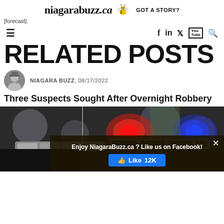niagarabuzz.ca GOT A STORY?
[forecast]
RELATED POSTS
NIAGARA BUZZ, 08/17/2022
Three Suspects Sought After Overnight Robbery
[Figure (photo): Police car with red and blue emergency lights at night, dark background]
Enjoy NiagaraBuzz.ca ? Like us on Facebook! Like 12K